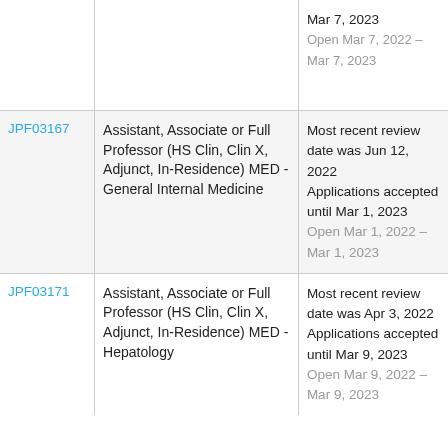| ID | Position | Date Info |
| --- | --- | --- |
|  |  | Mar 7, 2023
Open Mar 7, 2022 – Mar 7, 2023 |
| JPF03167 | Assistant, Associate or Full Professor (HS Clin, Clin X, Adjunct, In-Residence) MED - General Internal Medicine | Most recent review date was Jun 12, 2022 Applications accepted until Mar 1, 2023
Open Mar 1, 2022 – Mar 1, 2023 |
| JPF03171 | Assistant, Associate or Full Professor (HS Clin, Clin X, Adjunct, In-Residence) MED - Hepatology | Most recent review date was Apr 3, 2022 Applications accepted until Mar 9, 2023
Open Mar 9, 2022 – Mar 9, 2023 |